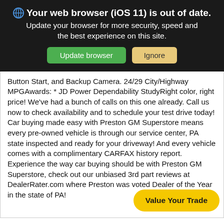🌐 Your web browser (iOS 11) is out of date. Update your browser for more security, speed and the best experience on this site.
Button Start, and Backup Camera. 24/29 City/Highway MPGAwards: * JD Power Dependability StudyRight color, right price! We've had a bunch of calls on this one already. Call us now to check availability and to schedule your test drive today! Car buying made easy with Preston GM Superstore means every pre-owned vehicle is through our service center, PA state inspected and ready for your driveway! And every vehicle comes with a complimentary CARFAX history report. Experience the way car buying should be with Preston GM Superstore, check out our unbiased 3rd part reviews at DealerRater.com where Preston was voted Dealer of the Year in the state of PA!